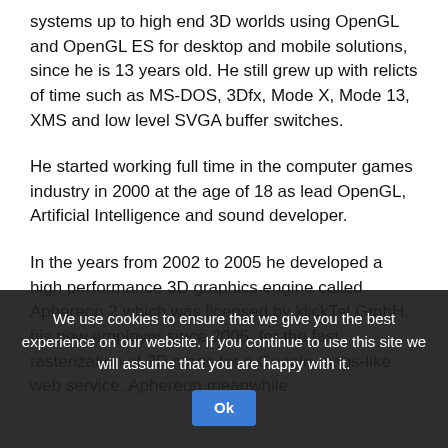systems up to high end 3D worlds using OpenGL and OpenGL ES for desktop and mobile solutions, since he is 13 years old. He still grew up with relicts of time such as MS-DOS, 3Dfx, Mode X, Mode 13, XMS and low level SVGA buffer switches.
He started working full time in the computer games industry in 2000 at the age of 18 as lead OpenGL, Artificial Intelligence and sound developer.
In the years from 2002 to 2005 he developed a high performance 3D graphics engine called Aphereon 2 which was licensed by klickTel GmbH, his new employer since 2005, for the fast rasterization of 2D maps for a Google-maps-like web service. Aphereon meanwhile
We use cookies to ensure that we give you the best experience on our website. If you continue to use this site we will assume that you are happy with it. Ok